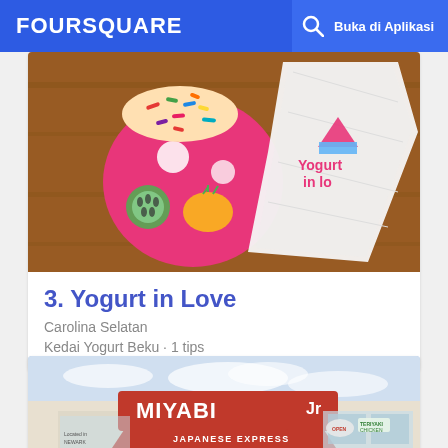FOURSQUARE  🔍  Buka di Aplikasi
[Figure (photo): Photo of a Yogurt in Love frozen yogurt cup with colorful sprinkles and a branded napkin on a wooden table]
3. Yogurt in Love
Carolina Selatan
Kedai Yogurt Beku · 1 tips
[Figure (photo): Exterior photo of Miyabi Jr Japanese Express restaurant storefront with red awning and signage]